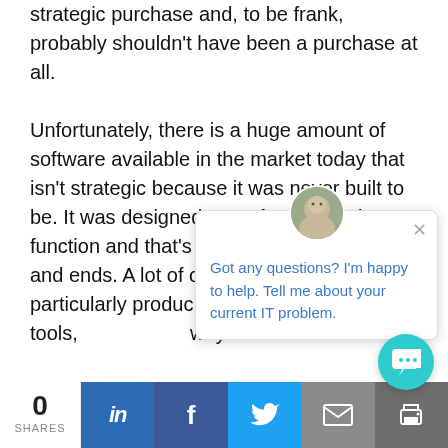strategic purchase and, to be frank, probably shouldn't have been a purchase at all.

Unfortunately, there is a huge amount of software available in the market today that isn't strategic because it was never built to be. It was designed to perform a single function and that's where it's story begins and ends. A lot of off-the-shelf software, particularly produc... spreadsheet tools, ... way.

Custom software, ... nearly always strategic because it's built with your business and your goals in mi...
[Figure (screenshot): Chat popup overlay with avatar photo of a man, close button (x), and text: 'Got any questions? I'm happy to help. Tell me about your current IT problem.']
0 SHARES
[Figure (infographic): Social sharing bar with LinkedIn, Facebook, Twitter, Email, and Print buttons]